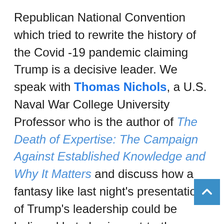Republican National Convention which tried to rewrite the history of the Covid -19 pandemic claiming Trump is a decisive leader. We speak with Thomas Nichols, a U.S. Naval War College University Professor who is the author of The Death of Expertise: The Campaign Against Established Knowledge and Why It Matters and discuss how a fantasy like last night's presentation of Trump's leadership could be believed but alas in post-truth America with propaganda not unlike that in Putin's Russia, nothing is true and everything is possible in post truth America. An expert in Soviet/Russian aff Tom Nichols is a former Republican who cannot